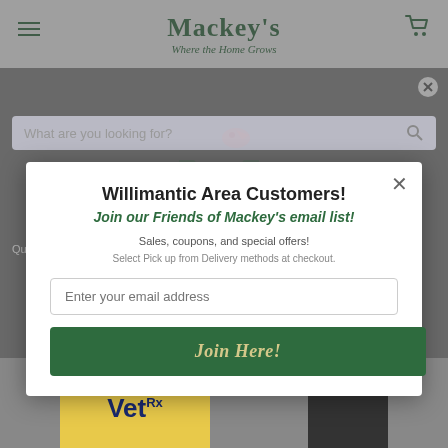[Figure (screenshot): Mackey's garden center website screenshot with a modal popup overlay. Background shows the Mackey's logo ('Where the Home Grows'), a search bar, and product images including VetRx. Foreground shows a white modal dialog for joining the Friends of Mackey's email list for Willimantic area customers.]
Willimantic Area Customers!
Join our Friends of Mackey's email list!
Sales, coupons, and special offers!
Quick Pickup now available at our Willimantic location. BETA
Select Pick up from Delivery methods at checkout.
Enter your email address
Join Here!